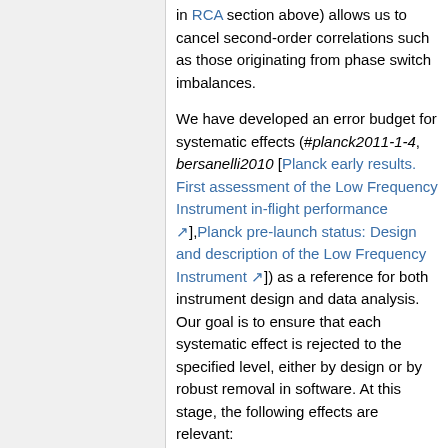in RCA section above) allows us to cancel second-order correlations such as those originating from phase switch imbalances.
We have developed an error budget for systematic effects (#planck2011-1-4, bersanelli2010 [Planck early results. First assessment of the Low Frequency Instrument in-flight performance,Planck pre-launch status: Design and description of the Low Frequency Instrument]) as a reference for both instrument design and data analysis. Our goal is to ensure that each systematic effect is rejected to the specified level, either by design or by robust removal in software. At this stage, the following effects are relevant:
– 1/f noise;